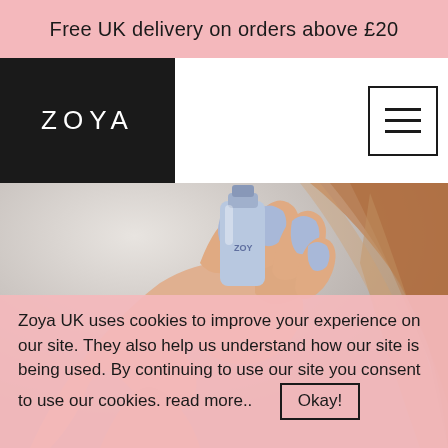Free UK delivery on orders above £20
[Figure (logo): ZOYA brand logo in white text on black background]
[Figure (photo): Close-up photo of a hand with light blue/periwinkle nail polish holding a Zoya nail polish bottle, with blond hair visible in background]
Zoya UK uses cookies to improve your experience on our site. They also help us understand how our site is being used. By continuing to use our site you consent to use our cookies. read more.. Okay!